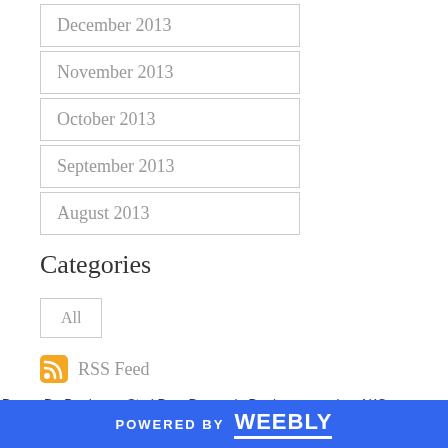December 2013
November 2013
October 2013
September 2013
August 2013
Categories
All
RSS Feed
Dogue De Bordeaux, Stud Dog, Dogue de Bordeaux puppies, AKC Dogue de Bordeaux
POWERED BY weebly